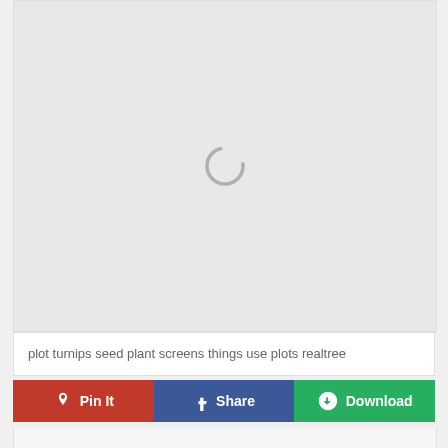[Figure (other): Loading spinner / placeholder image area with light gray background and a circular loading indicator in the center]
plot turnips seed plant screens things use plots realtree
Pin It
Share
Download